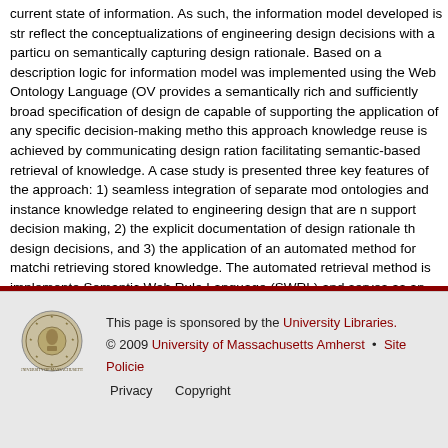current state of information. As such, the information model developed is str reflect the conceptualizations of engineering design decisions with a particu on semantically capturing design rationale. Based on a description logic for information model was implemented using the Web Ontology Language (OV provides a semantically rich and sufficiently broad specification of design de capable of supporting the application of any specific decision-making metho this approach knowledge reuse is achieved by communicating design ration facilitating semantic-based retrieval of knowledge. A case study is presented three key features of the approach: 1) seamless integration of separate mod ontologies and instance knowledge related to engineering design that are n support decision making, 2) the explicit documentation of design rationale th design decisions, and 3) the application of an automated method for matchi retrieving stored knowledge. The automated retrieval method is implemente Semantic Web Rule Language (SWRL) and serves as an example of the ty reasoning services that can easily be achieved by formally and semantically representing design knowledge.
First Advisor
Ian R. Grosse
This page is sponsored by the University Libraries. © 2009 University of Massachusetts Amherst • Site Policies Privacy Copyright